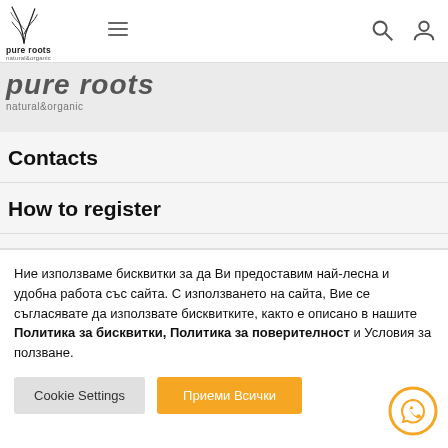[Figure (logo): Pure roots natural&organic logo - navigation bar with hamburger menu and search/user icons]
[Figure (logo): Pure roots natural&organic large italic logo repeated in grey banner]
Contacts
How to register
How to order
Delivery
Ние използваме бисквитки за да Ви предоставим най-лесна и удобна работа със сайта. С използването на сайта, Вие се съгласявате да използвате бисквитките, както е описано в нашите Политика за бисквитки, Политика за поверителност и Условия за ползване.
Cookie Settings | Приеми Всички